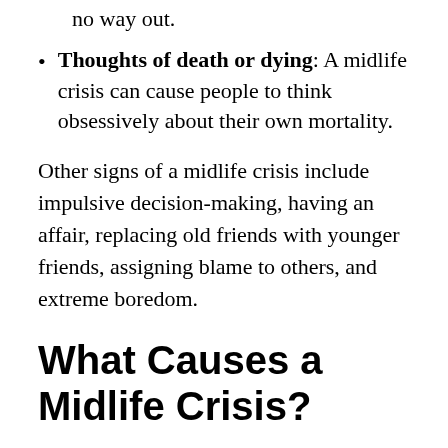no way out.
Thoughts of death or dying: A midlife crisis can cause people to think obsessively about their own mortality.
Other signs of a midlife crisis include impulsive decision-making, having an affair, replacing old friends with younger friends, assigning blame to others, and extreme boredom.
What Causes a Midlife Crisis?
It bears repeating that recent studies seem to reject the idea that most adults go through a midlife crisis. Researchers believe that personality type and a